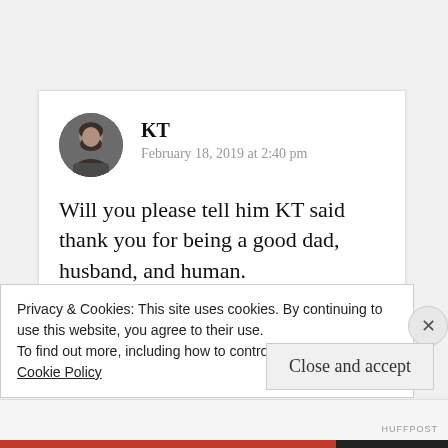KT
February 18, 2019 at 2:40 pm
Will you please tell him KT said thank you for being a good dad, husband, and human.
Privacy & Cookies: This site uses cookies. By continuing to use this website, you agree to their use.
To find out more, including how to control cookies, see here:
Cookie Policy
Close and accept